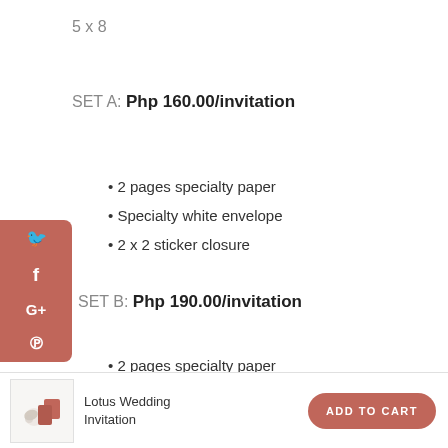5 x 8
SET A: Php 160.00/invitation
2 pages specialty paper
Specialty white envelope
2 x 2 sticker closure
SET B: Php 190.00/invitation
2 pages specialty paper
Specialty white envelope with lining
2 x 2 sticker closure
Lotus Wedding Invitation